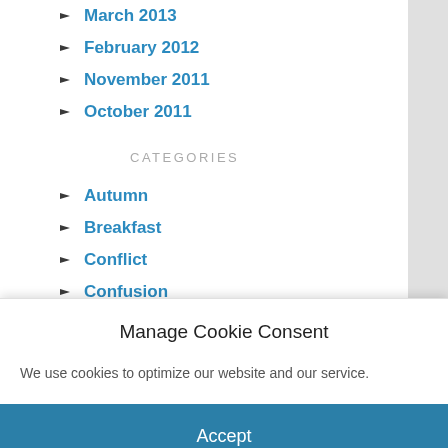March 2013
February 2012
November 2011
October 2011
CATEGORIES
Autumn
Breakfast
Conflict
Confusion
Contemplation
Contemplations on New York Life
Cooking
Manage Cookie Consent
We use cookies to optimize our website and our service.
Accept